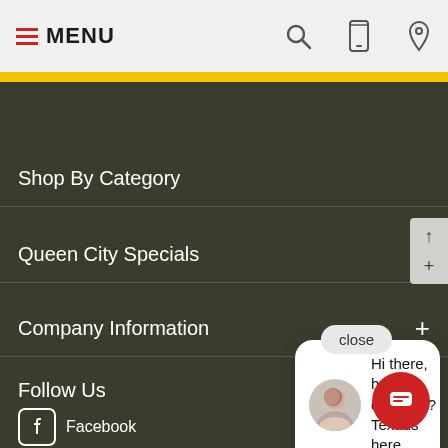MENU
Shop By Category
Queen City Specials
Company Information
Follow Us
Facebook
Instagram
Pinterest
YouTube
Hi there, have a question? Text us here.